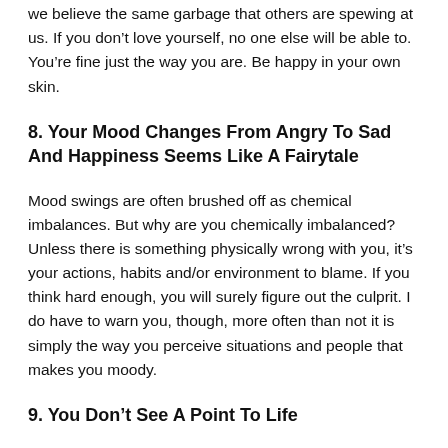we believe the same garbage that others are spewing at us. If you don't love yourself, no one else will be able to. You're fine just the way you are. Be happy in your own skin.
8. Your Mood Changes From Angry To Sad And Happiness Seems Like A Fairytale
Mood swings are often brushed off as chemical imbalances. But why are you chemically imbalanced? Unless there is something physically wrong with you, it's your actions, habits and/or environment to blame. If you think hard enough, you will surely figure out the culprit. I do have to warn you, though, more often than not it is simply the way you perceive situations and people that makes you moody.
9. You Don't See A Point To Life
This is the most challenging realization that you can relate to. The most...